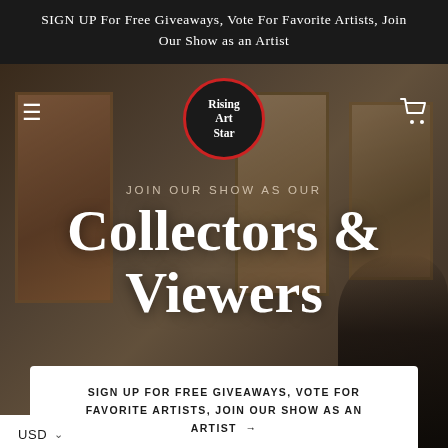SIGN UP For Free Giveaways, Vote For Favorite Artists, Join Our Show as an Artist
[Figure (photo): Blurred museum/gallery interior with classical paintings on walls and a person in the foreground with a guitar]
JOIN OUR SHOW AS OUR Collectors & Viewers
SIGN UP FOR FREE GIVEAWAYS, VOTE FOR FAVORITE ARTISTS, JOIN OUR SHOW AS AN ARTIST →
USD